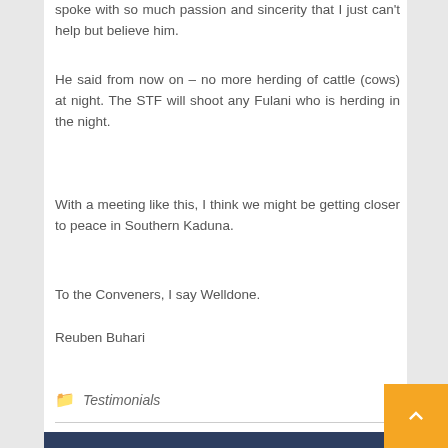spoke with so much passion and sincerity that I just can't help but believe him.
He said from now on – no more herding of cattle (cows) at night. The STF will shoot any Fulani who is herding in the night.
With a meeting like this, I think we might be getting closer to peace in Southern Kaduna.
To the Conveners, I say Welldone.
Reuben Buhari
Testimonials
Southern Kaduna Peace Gathering (Parley) Held in Kafanchan @ New Choice Hotel- July 22nd, 2017